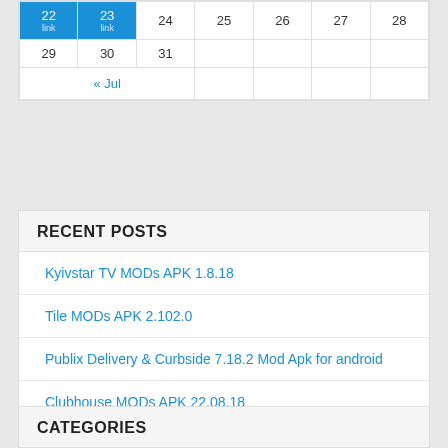| 22 | 23 | 24 | 25 | 26 | 27 | 28 |
| 29 | 30 | 31 |  |  |  |  |
| « Jul |  |  |  |  |  |  |
RECENT POSTS
Kyivstar TV MODs APK 1.8.18
Tile MODs APK 2.102.0
Publix Delivery & Curbside 7.18.2 Mod Apk for android
Clubhouse MODs APK 22.08.18
Phone by Google MODs APK 88.0.468062516
CATEGORIES